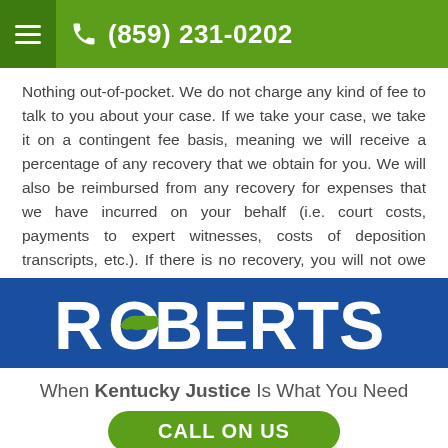(859) 231-0202
Nothing out-of-pocket. We do not charge any kind of fee to talk to you about your case. If we take your case, we take it on a contingent fee basis, meaning we will receive a percentage of any recovery that we obtain for you. We will also be reimbursed from any recovery for expenses that we have incurred on your behalf (i.e. court costs, payments to expert witnesses, costs of deposition transcripts, etc.). If there is no recovery, you will not owe us anything.
[Figure (logo): Roberts law firm logo with Kentucky state outline replacing the O, white text on blue background]
When Kentucky Justice Is What You Need
CALL ON US